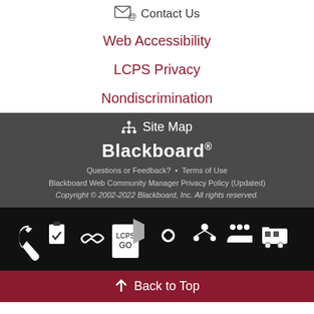Contact Us
Web Accessibility
LCPS Privacy
Nondiscrimination
Site Map
Blackboard®
Questions or Feedback?  •  Terms of Use
Blackboard Web Community Manager Privacy Policy (Updated)
Copyright © 2002-2022 Blackboard, Inc. All rights reserved.
[Figure (infographic): Row of white icons on black background: wrench, clipboard with checkmark, handshake, LCPS GO logo, pinwheel/flower icon, network/people icon, group of people, school bus]
Back to Top